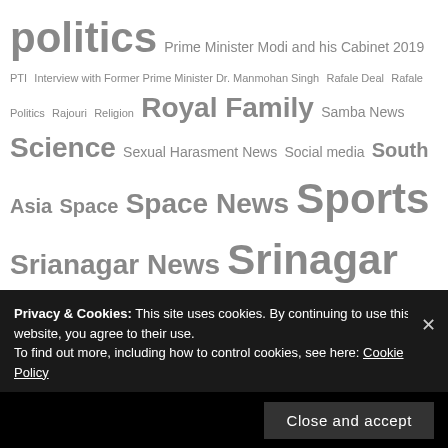politics Prime Minister Modi and his Cabinet 2019 PTI Interview with Former Prime Minister Dr. Manmohan Singh Rafale Deal Rafale Politics Rajouri Religion Royal Family Samba News Science Sexual Harasment News Social media South Asia Space Space News Sports Srianagar News Srinagar supreme court Technology The College of Nursing Army Hospital The Open View's Live Broadcasts Top International News Top News Top Stories Top World News Tweet of the Day U.P. Unemployment in India United Nations UPSC Varsha's Pick Video News Video News Videos videos news Wealth inequality in India Weather News World at Glance World Business World Economy World Enviroment World Health World
Privacy & Cookies: This site uses cookies. By continuing to use this website, you agree to their use. To find out more, including how to control cookies, see here: Cookie Policy
Close and accept